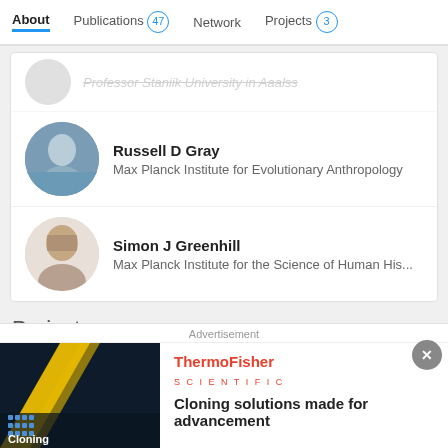About | Publications 47 | Network | Projects 3
Professor Staniik University in Aaalss (partial, scrolled)
Russell D Gray
Max Planck Institute for Evolutionary Anthropology
Simon J Greenhill
Max Planck Institute for the Science of Human His...
Projects
Projects (3)
Advertisement
[Figure (photo): Thermo Fisher Scientific advertisement image showing dark background with yellow diagonal stripe and Cloning text]
ThermoFisher SCIENTIFIC
Cloning solutions made for advancement